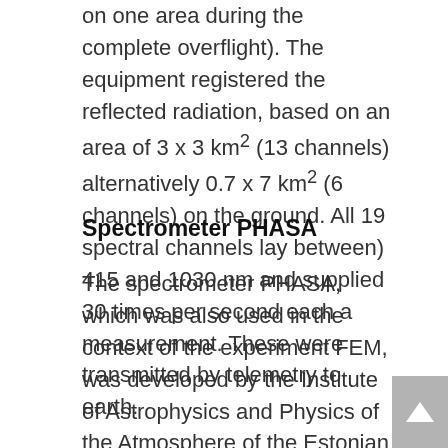on one area during the complete overflight). The equipment registered the reflected radiation, based on an area of 3 x 3 km² (13 channels) alternatively 0.7 x 7 km² (6 channels) on the ground. All 19 spectral channels lay between) 415 and 1030 nm and supplied 30 times per second each a measurement. These were transmitted by telemetry to earth.
Spectrometer PHASA
The spectrometer PHASA, which was also used in the context of the experiment FEM, was developed by the Institute of Astrophysics and Physics of the Atmosphere of the Estonian Akademy of Science. It also was mounted on the outside of QUANT-2 and was vertical justified. This equipment measured in intervalls of 1/10 seconds the infrared radiation of a 1 x 1 km²...